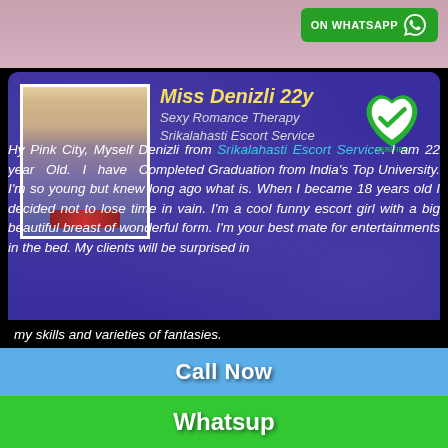[Figure (screenshot): Top strip with skin-tone background and WhatsApp button in green]
[Figure (photo): Profile photo of young woman in blue top]
Miss Denizli 22y
Sexy Romance Therapy
Srikalahasti Escort Service
Hy Pink City, Myself Denizli from Srikalahasti Escort Service. I am 22 year Old. I have Completed Graduation from India's Top University. I'm so young but knew long ago what is. When I became 18 years old I decided not to lose time in vain. I'm a cool funny escort girl with a big beautiful breast of wonderful form. I'm your best mate for entertainments in the bed. My clients will be surprised in my skills and varieties of fantasies.
Call Now
Whatsup